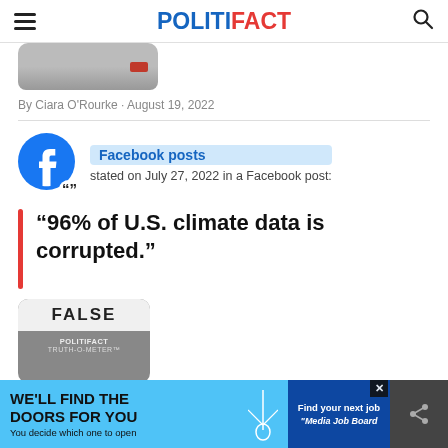POLITIFACT
[Figure (screenshot): Partial image of a verdict card at the top]
By Ciara O'Rourke • August 19, 2022
[Figure (logo): Facebook logo circle icon]
Facebook posts stated on July 27, 2022 in a Facebook post:
“96% of U.S. climate data is corrupted.”
[Figure (infographic): PolitiFact Truth-O-Meter showing FALSE rating]
[Figure (infographic): Advertisement banner: WE'LL FIND THE DOORS FOR YOU / Find your next job / Media Job Board]